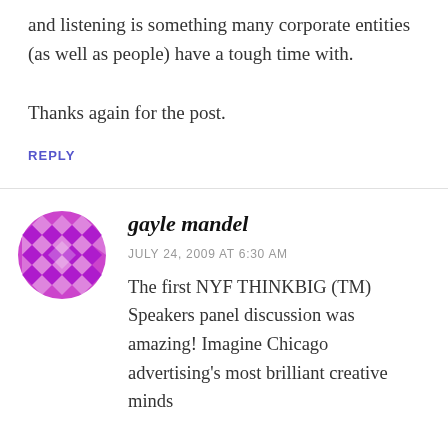and listening is something many corporate entities (as well as people) have a tough time with.
Thanks again for the post.
REPLY
[Figure (illustration): Purple geometric avatar with diamond/cross pattern for user gayle mandel]
gayle mandel
JULY 24, 2009 AT 6:30 AM
The first NYF THINKBIG (TM) Speakers panel discussion was amazing! Imagine Chicago advertising's most brilliant creative minds